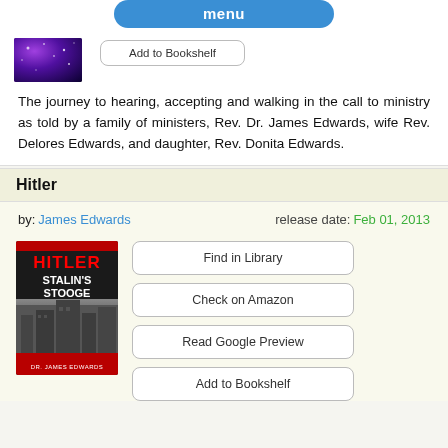menu
[Figure (illustration): Book cover thumbnail with purple starry background, partial text visible]
Add to Bookshelf
The journey to hearing, accepting and walking in the call to ministry as told by a family of ministers, Rev. Dr. James Edwards, wife Rev. Delores Edwards, and daughter, Rev. Donita Edwards.
Hitler
by: James Edwards   release date: Feb 01, 2013
[Figure (illustration): Book cover for 'Hitler Stalin's Stooge' by Dr. James Edwards, showing red text HITLER on black background, white subtitle text STALIN'S STOOGE, grey-toned building silhouette below]
Find in Library
Check on Amazon
Read Google Preview
Add to Bookshelf